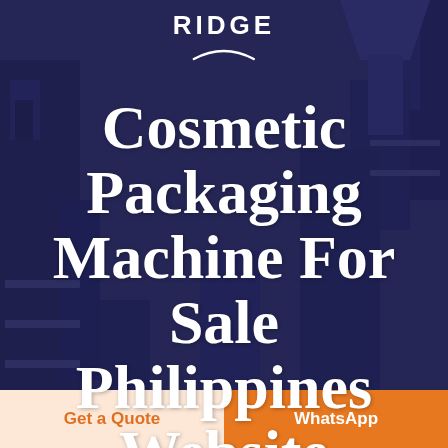[Figure (photo): Dark blue/purple tinted industrial packaging machinery background image]
RIDGE
Cosmetic Packaging Machine For Sale Philippines Website
Get a Quote
WhatsApp